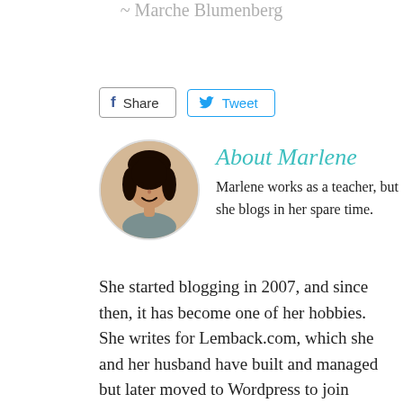~ Marche Blumenberg
[Figure (infographic): Share and Tweet buttons row: Facebook Share button with 'f' icon, Twitter Tweet button with bird icon]
[Figure (photo): Circular headshot photo of Marlene, a woman with dark hair smiling]
About Marlene
Marlene works as a teacher, but she blogs in her spare time. She started blogging in 2007, and since then, it has become one of her hobbies. She writes for Lemback.com, which she and her husband have built and managed but later moved to Wordpress to join other WP